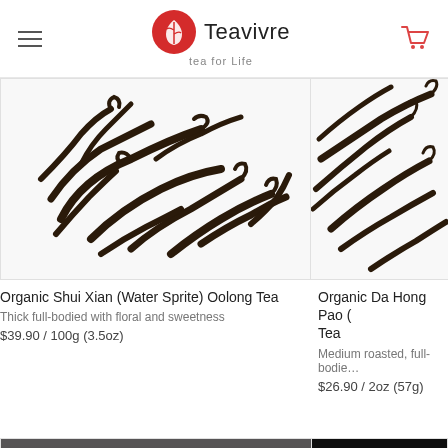Teavivre – tea for life
[Figure (photo): Close-up photo of dark twisted Organic Shui Xian (Water Sprite) Oolong Tea leaves on white background]
Organic Shui Xian (Water Sprite) Oolong Tea
Thick full-bodied with floral and sweetness
$39.90 / 100g (3.5oz)
[Figure (photo): Close-up photo of dark twisted Organic Da Hong Pao (Big Red Robe) Oolong Tea leaves on white background]
Organic Da Hong Pao (…) Tea
Medium roasted, full-bodie…
$26.90 / 2oz (57g)
[Figure (photo): Photo showing a dark flat surface, possibly a tea tray or compressed tea cake with a blue-grey surface]
[Figure (photo): Photo with very dark / black background, possibly a dark tea product]